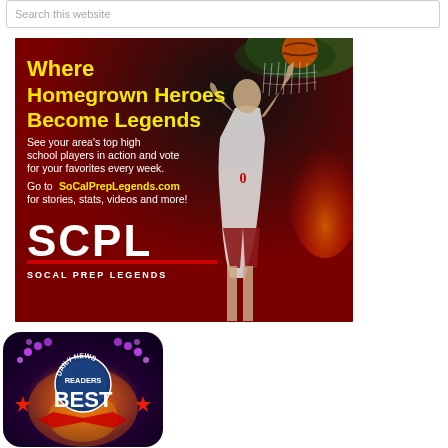Search this website
[Figure (photo): SCPL advertisement banner: 'Where Homegrown Heroes Become Legends' - basketball player dunking, dark red and black background with yellow and white text. Go to SoCalPrepLegends.com for stories, stats, videos and more! SCPL SOCAL PREP LEGENDS logo at bottom.]
[Figure (logo): Daily News Readers Best award badge/logo with purple and orange stage lighting background]